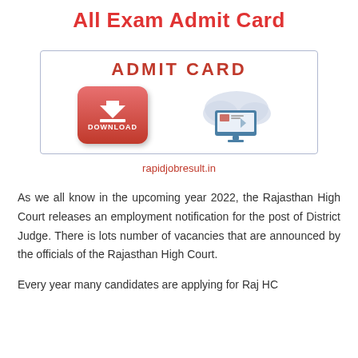All Exam Admit Card
[Figure (illustration): Admit card banner with 'ADMIT CARD' heading, a red download button with arrow, and a monitor with cloud graphic]
rapidjobresult.in
As we all know in the upcoming year 2022, the Rajasthan High Court releases an employment notification for the post of District Judge. There is lots number of vacancies that are announced by the officials of the Rajasthan High Court.
Every year many candidates are applying for Raj HC